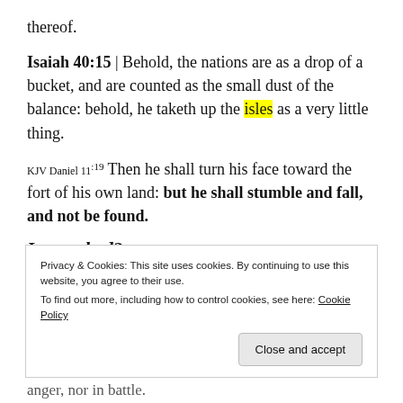thereof.
Isaiah 40:15 | Behold, the nations are as a drop of a bucket, and are counted as the small dust of the balance: behold, he taketh up the isles as a very little thing.
KJV Daniel 11:19 Then he shall turn his face toward the fort of his own land: but he shall stumble and fall, and not be found.
Impeached?
Privacy & Cookies: This site uses cookies. By continuing to use this website, you agree to their use.
To find out more, including how to control cookies, see here: Cookie Policy
anger, nor in battle.